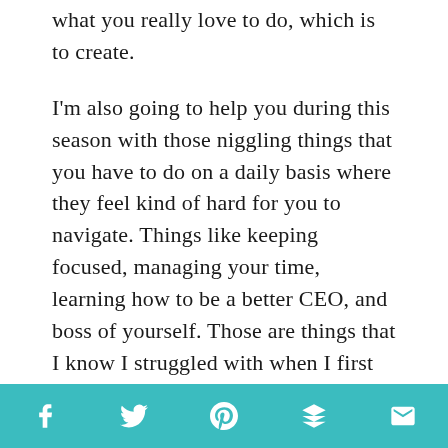what you really love to do, which is to create.
I'm also going to help you during this season with those niggling things that you have to do on a daily basis where they feel kind of hard for you to navigate. Things like keeping focused, managing your time, learning how to be a better CEO, and boss of yourself. Those are things that I know I struggled with when I first started out in business. And also dun dun dun, I'm going to help you with marketing, which is one of my favorite things to talk about, but maybe
Social share icons: Facebook, Twitter, Pinterest, Layers, Email